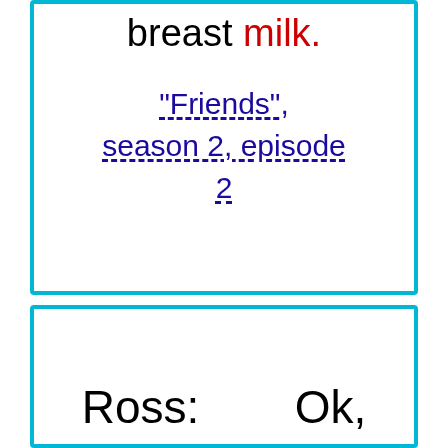breast milk.
"Friends", season 2, episode 2
Ross:        Ok,